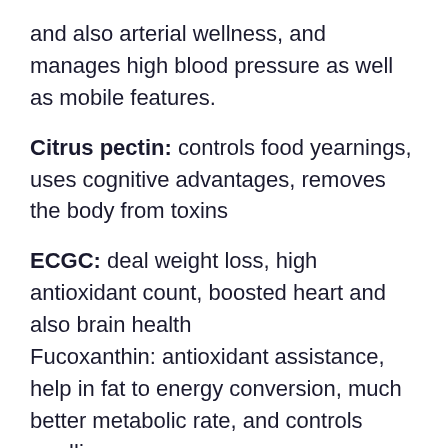and also arterial wellness, and manages high blood pressure as well as mobile features.
Citrus pectin: controls food yearnings, uses cognitive advantages, removes the body from toxins
ECGC: deal weight loss, high antioxidant count, boosted heart and also brain health Fucoxanthin: antioxidant assistance, help in fat to energy conversion, much better metabolic rate, and controls swelling
Bioperine: high nutrient absorption, obstructs fat accumulation, better cognitive functions